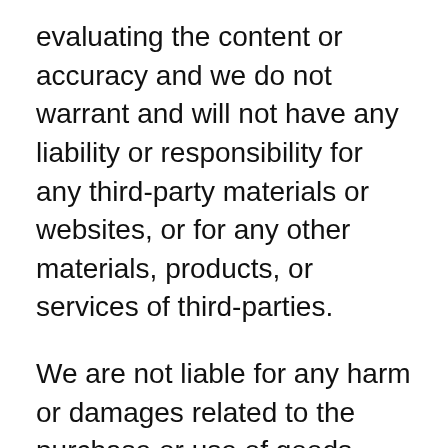evaluating the content or accuracy and we do not warrant and will not have any liability or responsibility for any third-party materials or websites, or for any other materials, products, or services of third-parties.
We are not liable for any harm or damages related to the purchase or use of goods, services, resources, content, or any other transactions made in connection with any third-party websites. Please review carefully the third-party's policies and practices and make sure you understand them before you engage in any transaction. Complaints, claims,